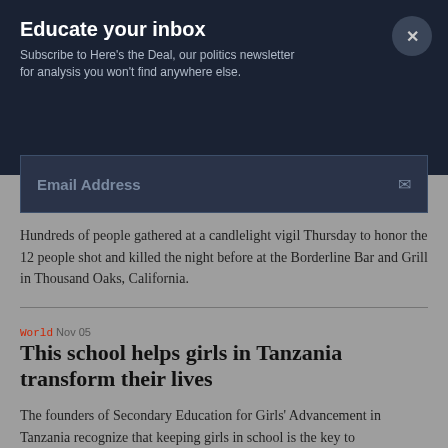Educate your inbox
Subscribe to Here's the Deal, our politics newsletter for analysis you won't find anywhere else.
Email Address
Hundreds of people gathered at a candlelight vigil Thursday to honor the 12 people shot and killed the night before at the Borderline Bar and Grill in Thousand Oaks, California.
World  Nov  05
This school helps girls in Tanzania transform their lives
The founders of Secondary Education for Girls' Advancement in Tanzania recognize that keeping girls in school is the key to giving them...